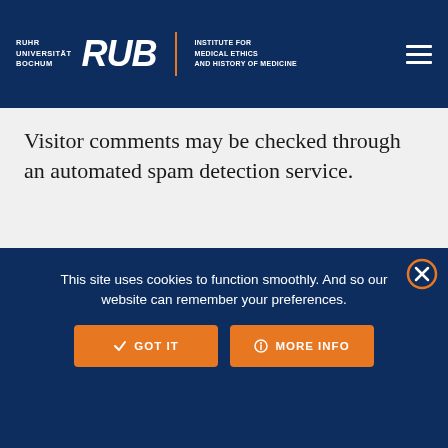RUHR UNIVERSITÄT BOCHUM — RUB — INSTITUTE FOR MEDICAL ETHICS AND HISTORY OF MEDICINE
Visitor comments may be checked through an automated spam detection service.
This site uses cookies to function smoothly. And so our website can remember your preferences.